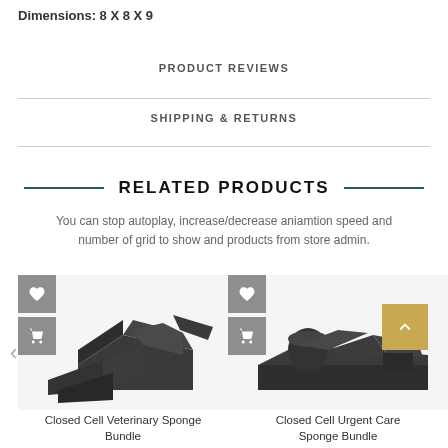Dimensions: 8 X 8 X 9
PRODUCT REVIEWS
SHIPPING & RETURNS
RELATED PRODUCTS
You can stop autoplay, increase/decrease aniamtion speed and number of grid to show and products from store admin.
[Figure (photo): Dark gray foam positioning sponge product set, angled/wedge shapes, with wishlist heart and cart icons overlaid top-left]
[Figure (photo): Dark gray foam positioning sponge product set with cylindrical and flat shapes, with wishlist heart and cart icons overlaid top-left, and gold scroll-to-top button overlay]
Closed Cell Veterinary Sponge Bundle
Closed Cell Urgent Care Sponge Bundle